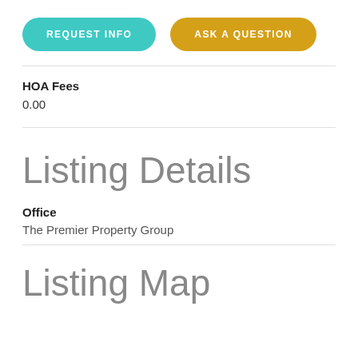[Figure (other): Two buttons: REQUEST INFO (teal/cyan rounded button) and ASK A QUESTION (gold/amber rounded button)]
HOA Fees
0.00
Listing Details
Office
The Premier Property Group
Listing Map